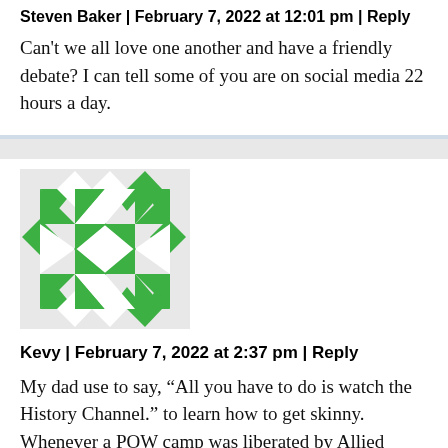Steven Baker | February 7, 2022 at 12:01 pm | Reply
Can't we all love one another and have a friendly debate? I can tell some of you are on social media 22 hours a day.
[Figure (illustration): Green geometric avatar/identicon with triangular and diamond shapes in a square grid pattern]
Kevy | February 7, 2022 at 2:37 pm | Reply
My dad use to say, “All you have to do is watch the History Channel.” to learn how to get skinny.
Whenever a POW camp was liberated by Allied Forces in WWll, every prisoner was thin. That teaches us the psychology...